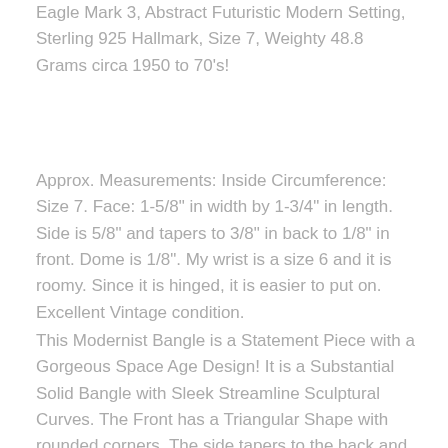Eagle Mark 3, Abstract Futuristic Modern Setting, Sterling 925 Hallmark, Size 7, Weighty 48.8 Grams circa 1950 to 70's!
Approx. Measurements: Inside Circumference: Size 7. Face: 1-5/8" in width by 1-3/4" in length. Side is 5/8" and tapers to 3/8" in back to 1/8" in front. Dome is 1/8". My wrist is a size 6 and it is roomy. Since it is hinged, it is easier to put on. Excellent Vintage condition.
This Modernist Bangle is a Statement Piece with a Gorgeous Space Age Design! It is a Substantial Solid Bangle with Sleek Streamline Sculptural Curves. The Front has a Triangular Shape with rounded corners. The side tapers to the back and gracefully rounds to a